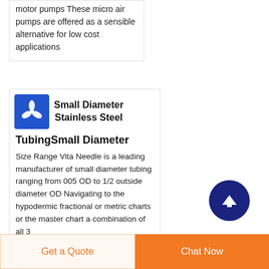motor pumps These micro air pumps are offered as a sensible alternative for low cost applications
[Figure (logo): Blue square logo with white propeller/fan icon]
Small Diameter Stainless Steel Tubing
Small Diameter Stainless Steel TubingSmall Diameter
Size Range Vita Needle is a leading manufacturer of small diameter tubing ranging from 005 OD to 1/2 outside diameter OD Navigating to the hypodermic fractional or metric charts or the master chart a combination of all 3
Get a Quote
Chat Now